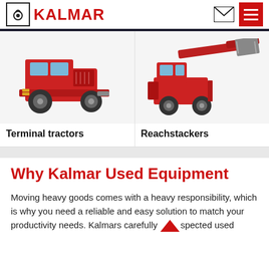KALMAR
[Figure (illustration): Terminal tractor vehicle - red Kalmar terminal tractor viewed from rear-left angle]
Terminal tractors
[Figure (illustration): Reachstacker vehicle - red Kalmar reachstacker with extended boom and spreader]
Reachstackers
Why Kalmar Used Equipment
Moving heavy goods comes with a heavy responsibility, which is why you need a reliable and easy solution to match your productivity needs. Kalmars carefully inspected used